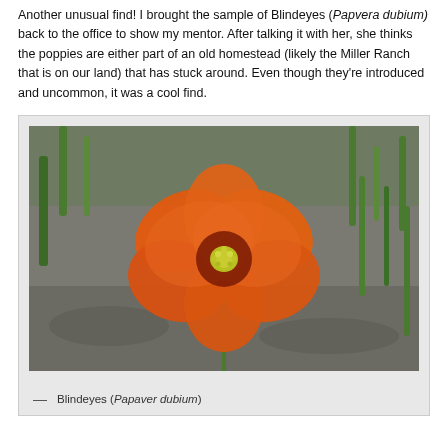Another unusual find! I brought the sample of Blindeyes (Papvera dubium) back to the office to show my mentor. After talking it with her, she thinks the poppies are either part of an old homestead (likely the Miller Ranch that is on our land) that has stuck around. Even though they're introduced and uncommon, it was a cool find.
[Figure (photo): Close-up photograph of an orange Blindeyes (Papaver dubium) flower with a yellow-green center, photographed from above against a background of gravel and green grass.]
— Blindeyes (Papaver dubium)